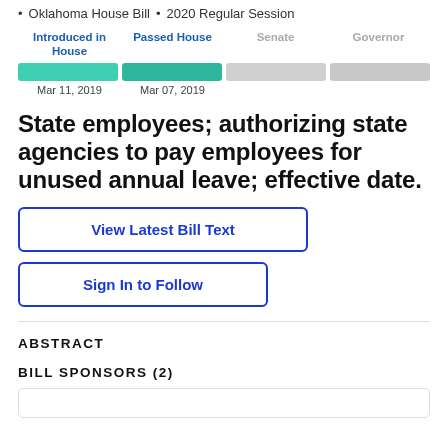Oklahoma House Bill • 2020 Regular Session
[Figure (infographic): Legislative progress tracker showing four stages: Introduced in House (Mar 11, 2019), Passed House (Mar 07, 2019), Senate (inactive), Governor (inactive). First two stages shown in teal/green bars, last two in gray.]
State employees; authorizing state agencies to pay employees for unused annual leave; effective date.
View Latest Bill Text
Sign In to Follow
ABSTRACT
BILL SPONSORS (2)